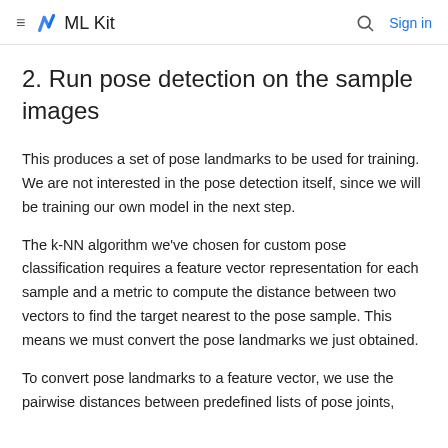≡  ML Kit   🔍  Sign in
2. Run pose detection on the sample images
This produces a set of pose landmarks to be used for training. We are not interested in the pose detection itself, since we will be training our own model in the next step.
The k-NN algorithm we've chosen for custom pose classification requires a feature vector representation for each sample and a metric to compute the distance between two vectors to find the target nearest to the pose sample. This means we must convert the pose landmarks we just obtained.
To convert pose landmarks to a feature vector, we use the pairwise distances between predefined lists of pose joints,